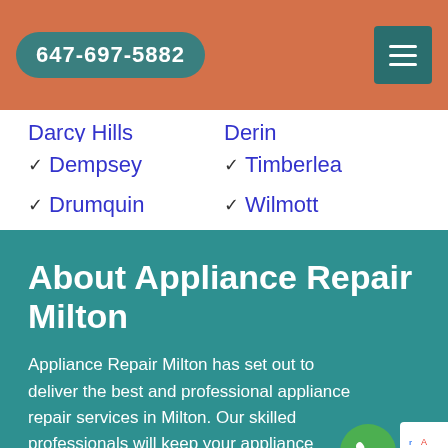647-697-5882
✓ Darcy Hills  ✓ Derin
✓ Dempsey
✓ Timberlea
✓ Drumquin
✓ Wilmott
About Appliance Repair Milton
Appliance Repair Milton has set out to deliver the best and professional appliance repair services in Milton. Our skilled professionals will keep your appliance running efficiently through years of experience.